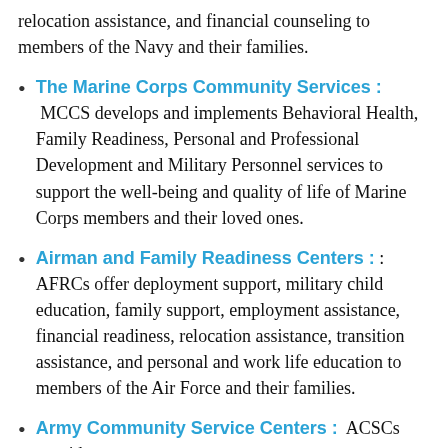relocation assistance, and financial counseling to members of the Navy and their families.
The Marine Corps Community Services : MCCS develops and implements Behavioral Health, Family Readiness, Personal and Professional Development and Military Personnel services to support the well-being and quality of life of Marine Corps members and their loved ones.
Airman and Family Readiness Centers : : AFRCs offer deployment support, military child education, family support, employment assistance, financial readiness, relocation assistance, transition assistance, and personal and work life education to members of the Air Force and their families.
Army Community Service Centers : ACSCs provide